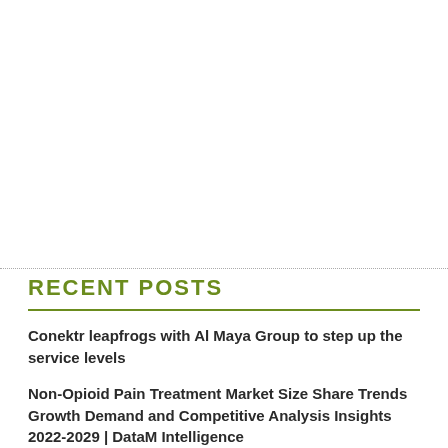RECENT POSTS
Conektr leapfrogs with Al Maya Group to step up the service levels
Non-Opioid Pain Treatment Market Size Share Trends Growth Demand and Competitive Analysis Insights 2022-2029 | DataM Intelligence